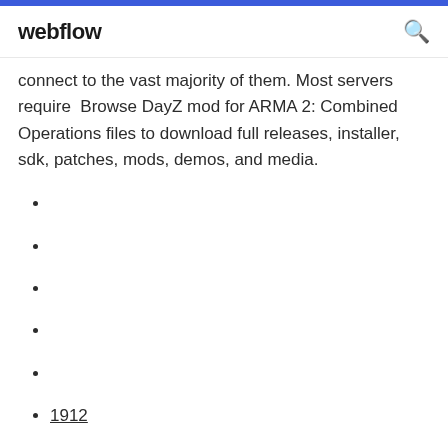webflow
connect to the vast majority of them. Most servers require  Browse DayZ mod for ARMA 2: Combined Operations files to download full releases, installer, sdk, patches, mods, demos, and media.
1912
1999
768